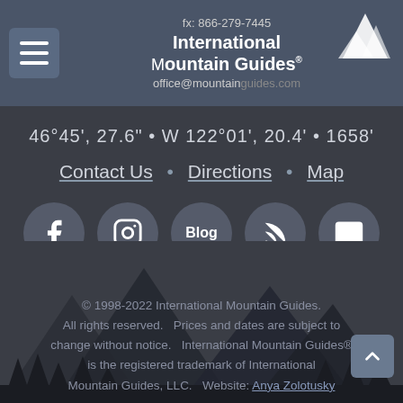fx: 866-279-7445  International Mountain Guides  office@mountainguides.com
46°45', 27.6" • W 122°01', 20.4' • 1658'
Contact Us • Directions • Map
[Figure (other): Social media icon buttons: Facebook, Instagram, Blog, RSS feed, Newsletter]
[Figure (illustration): Mountain silhouette background in dark tones]
© 1998-2022 International Mountain Guides. All rights reserved.   Prices and dates are subject to change without notice.   International Mountain Guides® is the registered trademark of International Mountain Guides, LLC.   Website: Anya Zolotusky